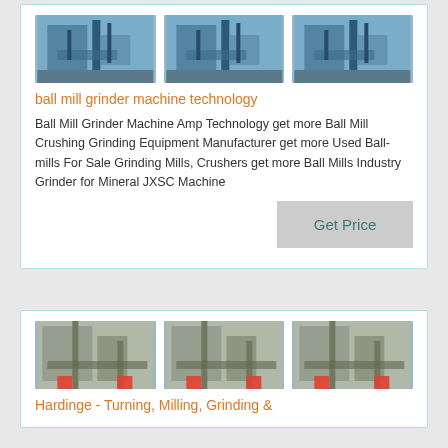[Figure (photo): Three industrial ball mill machine images in a row]
ball mill grinder machine technology
Ball Mill Grinder Machine Amp Technology get more Ball Mill Crushing Grinding Equipment Manufacturer get more Used Ball-mills For Sale Grinding Mills, Crushers get more Ball Mills Industry Grinder for Mineral JXSC Machine
[Figure (photo): Three industrial factory/mill images in a row]
Hardinge - Turning, Milling, Grinding &